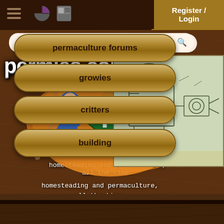[Figure (screenshot): permies.com website screenshot showing navigation bar with hamburger menu, pie icon, grid icon, and Register/Login button; search bar; permies.com logo with 'P' diamond emblem and figures holding tools; homesteading tagline; engineering diagram thumbnail; left navigation panel with permaculture forums, growies, critters, building buttons; right panel showing 'OTHER THREADS SI... LIME PAINT TO PR...' heading and a thread card 'Tell me about your...' with 3 replies]